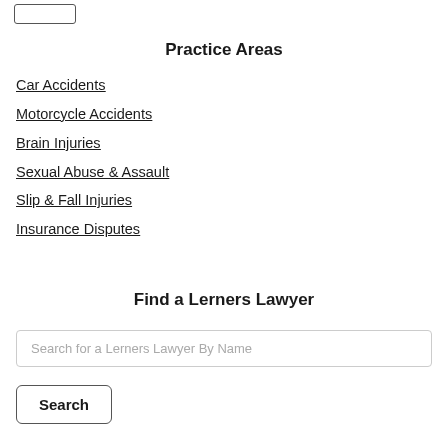Practice Areas
Car Accidents
Motorcycle Accidents
Brain Injuries
Sexual Abuse & Assault
Slip & Fall Injuries
Insurance Disputes
Find a Lerners Lawyer
Search for a Lerners Lawyer By Name